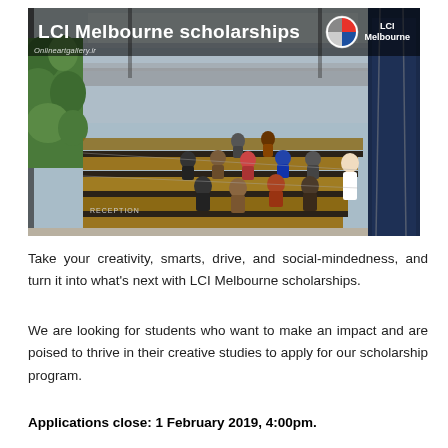[Figure (photo): Interior of LCI Melbourne campus showing a multi-level open atrium with wooden steps/seating, students sitting and standing, green plant walls on the left, large windows with natural light, and a dark blue climbing wall on the right. Title bar overlay reads 'LCI Melbourne scholarships' with LCI Melbourne logo in top right corner. Watermark 'Onlineartgallery.ir' visible.]
Take your creativity, smarts, drive, and social-mindedness, and turn it into what's next with LCI Melbourne scholarships.
We are looking for students who want to make an impact and are poised to thrive in their creative studies to apply for our scholarship program.
Applications close: 1 February 2019, 4:00pm.